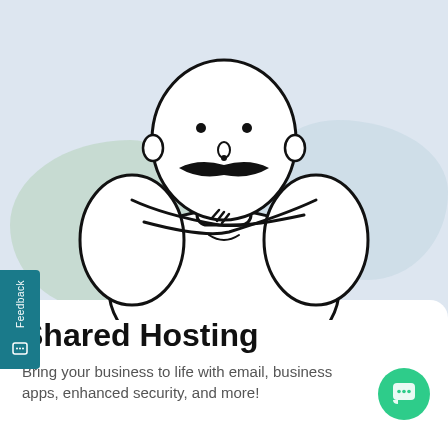[Figure (illustration): Line-art illustration of a stocky bald man with a large black mustache, arms crossed over his chest, shown from the waist up. Two soft blob shapes behind him — a green blob on the left and a blue-grey blob on the right — on a light blue background.]
Shared Hosting
Bring your business to life with email, business apps, enhanced security, and more!